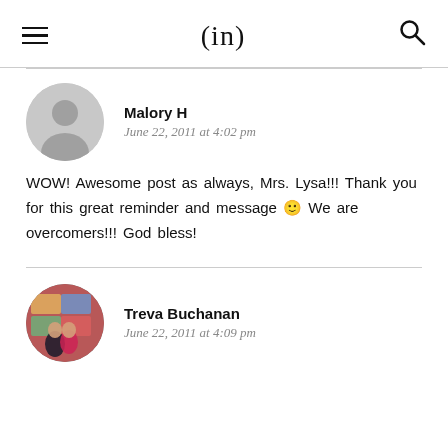(in)
Malory H
June 22, 2011 at 4:02 pm
WOW! Awesome post as always, Mrs. Lysa!!! Thank you for this great reminder and message 🙂 We are overcomers!!! God bless!
Treva Buchanan
June 22, 2011 at 4:09 pm